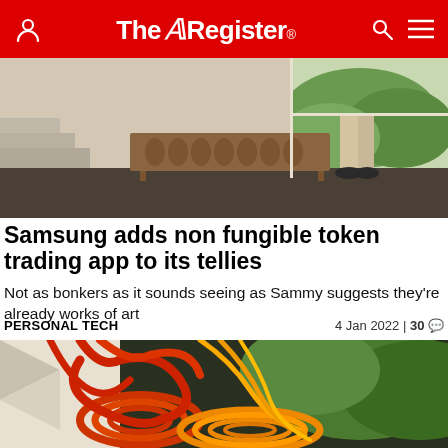The Register
[Figure (photo): Interior room scene showing a wooden sideboard/credenza with oval decorative panels, steps on the left, and a person's legs visible near a large window with outdoor greenery]
Samsung adds non fungible token trading app to its tellies
Not as bonkers as it sounds seeing as Sammy suggests they're already works of art
PERSONAL TECH	4 Jan 2022 | 30 💬
[Figure (photo): Close-up photo of colorful coiled ropes or cables in orange and red tones, arranged in circular patterns on what appears to be a decorative surface, with green foliage in the background]